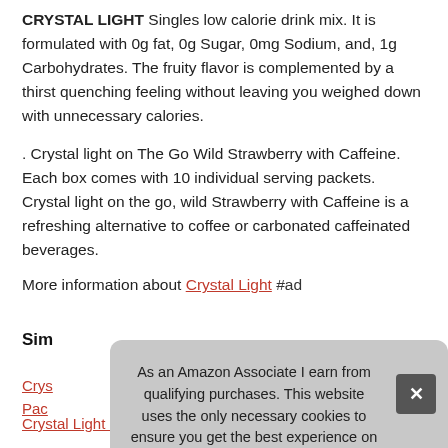CRYSTAL LIGHT Singles low calorie drink mix. It is formulated with 0g fat, 0g Sugar, 0mg Sodium, and, 1g Carbohydrates. The fruity flavor is complemented by a thirst quenching feeling without leaving you weighed down with unnecessary calories.
. Crystal light on The Go Wild Strawberry with Caffeine. Each box comes with 10 individual serving packets. Crystal light on the go, wild Strawberry with Caffeine is a refreshing alternative to coffee or carbonated caffeinated beverages.
More information about Crystal Light #ad
Sim
As an Amazon Associate I earn from qualifying purchases. This website uses the only necessary cookies to ensure you get the best experience on our website. More information
Crys... Pac...
Crystal Light On the Go Grape with Caffeine (Pack of 6) #ad